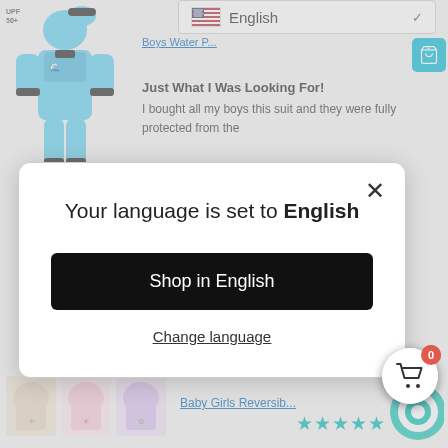[Figure (screenshot): Background showing a shopping website with a blue boys water protection suit product image on the left, a language selector dropdown showing English with US flag in the top right, a product review title 'Just What I Was Looking For!' and partial review text, a date '07/18/2022', and baby girls reversible product at the bottom.]
Boys Water P... ★★★★★
Just What I Was Looking For!
I bought all my boys this suit and they were fully protected from the
[Figure (screenshot): Modal dialog with white background, X close button, text 'Your language is set to English', black button 'Shop in English', and underlined link 'Change language']
Your language is set to English
Shop in English
Change language
07/18/2022
Baby Girls Reversib...